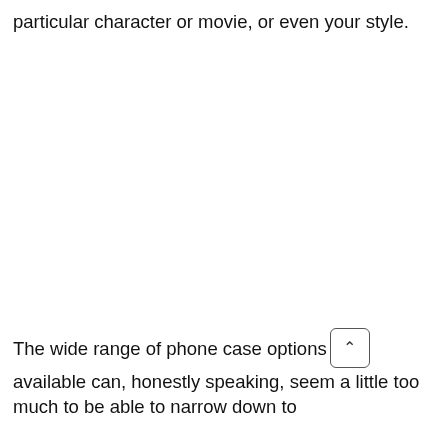particular character or movie, or even your style.
The wide range of phone case options available can, honestly speaking, seem a little too much to be able to narrow down to